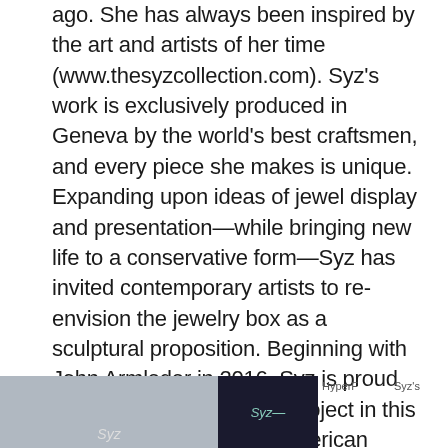ago. She has always been inspired by the art and artists of her time (www.thesyzcollection.com). Syz's work is exclusively produced in Geneva by the world's best craftsmen, and every piece she makes is unique. Expanding upon ideas of jewel display and presentation—while bringing new life to a conservative form—Syz has invited contemporary artists to re-envision the jewelry box as a sculptural proposition. Beginning with John Armleder in 2016, Syz is proud to announce her second project in this ongoing series with the American artist Alex Israel.
[Figure (photo): Photo with Syz label/logo at bottom, light background]
[Figure (photo): Dark background photo with Syz cursive logo]
[Figure (photo): Broken image placeholder labeled HyperF]
[Figure (photo): Broken image placeholder labeled Syz's]